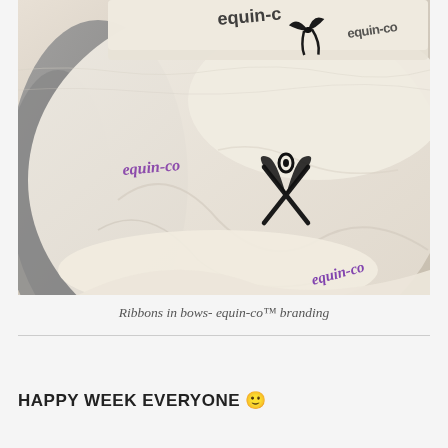[Figure (photo): Close-up photo of fabric items (shorts/underwear) with ribbons tied in bows and 'equin-co' branding printed in purple cursive. Multiple items layered - cream/white and grey colored fabrics. Black ribbon bows visible on the waistbands.]
Ribbons in bows- equin-co™ branding
HAPPY WEEK EVERYONE 🙂